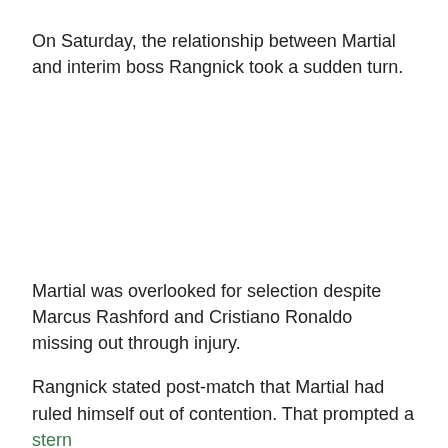On Saturday, the relationship between Martial and interim boss Rangnick took a sudden turn.
Martial was overlooked for selection despite Marcus Rashford and Cristiano Ronaldo missing out through injury.
Rangnick stated post-match that Martial had ruled himself out of contention. That prompted a stern